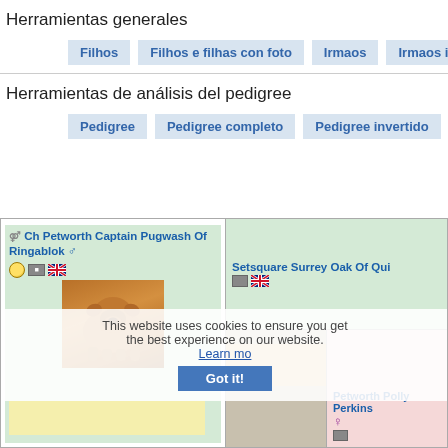Herramientas generales
Filhos
Filhos e filhas con foto
Irmaos
Irmaos inteiros
Herramientas de análisis del pedigree
Pedigree
Pedigree completo
Pedigree invertido
Linebree...
[Figure (screenshot): Pedigree table showing Ch Petworth Captain Pugwash Of Ringablok (male, with photo of bulldog) on the left, Setsquare Surrey Oak Of Qui... on the upper right, and Petworth Polly Perkins (female) on the lower right. Cookie consent overlay with 'Got it!' button is visible.]
Ch Petworth Captain Pugwash Of Ringablok ♂
Setsquare Surrey Oak Of Qui...
Petworth Polly Perkins ♀